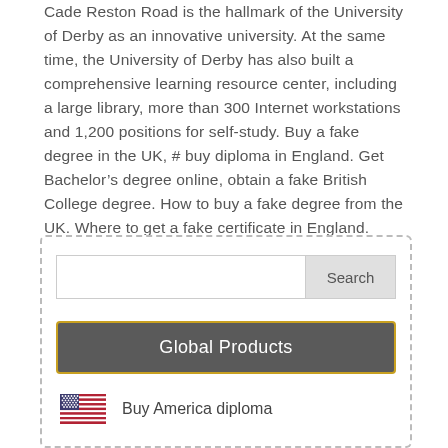Cade Reston Road is the hallmark of the University of Derby as an innovative university. At the same time, the University of Derby has also built a comprehensive learning resource center, including a large library, more than 300 Internet workstations and 1,200 positions for self-study. Buy a fake degree in the UK, # buy diploma in England. Get Bachelor's degree online, obtain a fake British College degree. How to buy a fake degree from the UK. Where to get a fake certificate in England.
[Figure (screenshot): Sidebar widget with dashed border containing a search bar with 'Search' button, a dark 'Global Products' button with gold border, and a list item showing US flag and 'Buy America diploma' text.]
Buy America diploma